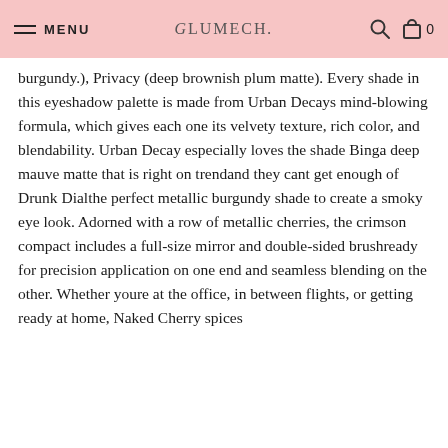MENU | GLUMECH. | 0
burgundy.), Privacy (deep brownish plum matte). Every shade in this eyeshadow palette is made from Urban Decays mind-blowing formula, which gives each one its velvety texture, rich color, and blendability. Urban Decay especially loves the shade Binga deep mauve matte that is right on trendand they cant get enough of Drunk Dialthe perfect metallic burgundy shade to create a smoky eye look. Adorned with a row of metallic cherries, the crimson compact includes a full-size mirror and double-sided brushready for precision application on one end and seamless blending on the other. Whether youre at the office, in between flights, or getting ready at home, Naked Cherry spices